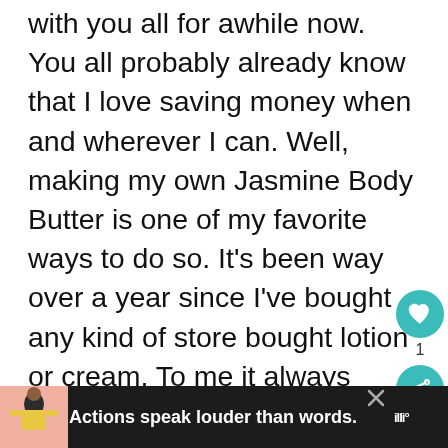with you all for awhile now. You all probably already know that I love saving money when and wherever I can. Well, making my own Jasmine Body Butter is one of my favorite ways to do so. It's been way over a year since I've bought any kind of store bought lotion or cream. To me it always seemed that they were way overpriced considering the amount of product that you actually get. Now. I'm talking about the creams that are actually moisturizing. I'm aware that th...
[Figure (other): Teal circular heart/like button with white heart icon, share button below it, count '1' between them. 'WHAT'S NEXT' label with Essential Oil Diffuser thumbnail and text.]
[Figure (other): Dark advertisement banner at bottom: person figure on pink background, text 'Actions speak louder than words.' with close X button and logo marks.]